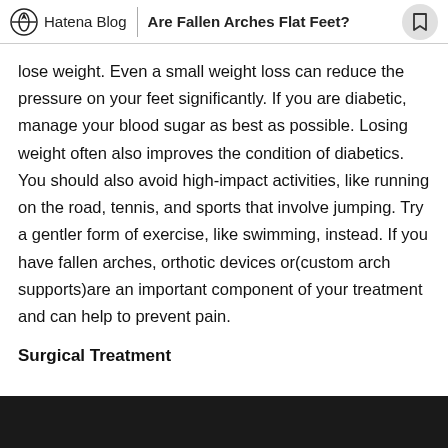Hatena Blog | Are Fallen Arches Flat Feet?
lose weight. Even a small weight loss can reduce the pressure on your feet significantly. If you are diabetic, manage your blood sugar as best as possible. Losing weight often also improves the condition of diabetics. You should also avoid high-impact activities, like running on the road, tennis, and sports that involve jumping. Try a gentler form of exercise, like swimming, instead. If you have fallen arches, orthotic devices or(custom arch supports)are an important component of your treatment and can help to prevent pain.
Surgical Treatment